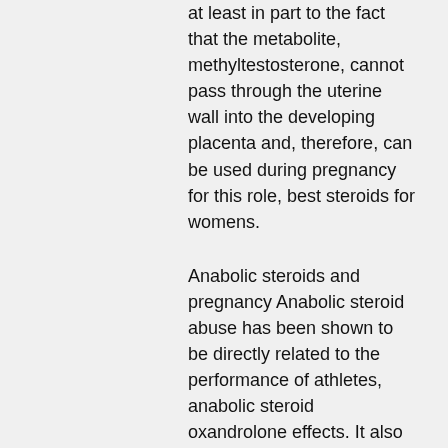at least in part to the fact that the metabolite, methyltestosterone, cannot pass through the uterine wall into the developing placenta and, therefore, can be used during pregnancy for this role, best steroids for womens.
Anabolic steroids and pregnancy Anabolic steroid abuse has been shown to be directly related to the performance of athletes, anabolic steroid oxandrolone effects. It also may help to explain the increased performance during steroid use in the case of prolonged or heavy use of the drug. Women should be aware that the steroid will interact with other hormones in the body, especially during pregnancy. During pregnancy, the levels of various hormones including estrogen and the progesterone secretagogue, melatonin, may rise, and can affect the growth of the fetus, best steroids for womens. [8] Women who abuse anabolic